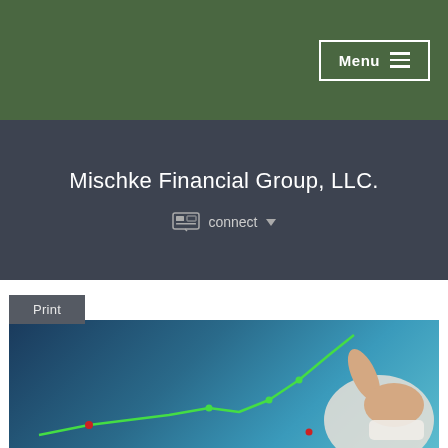Menu
Mischke Financial Group, LLC.
connect
Print
[Figure (photo): A person pointing at a rising green line chart against a blue gradient background, suggesting financial growth.]